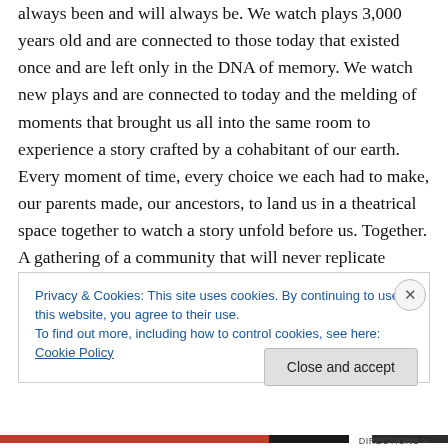always been and will always be. We watch plays 3,000 years old and are connected to those today that existed once and are left only in the DNA of memory. We watch new plays and are connected to today and the melding of moments that brought us all into the same room to experience a story crafted by a cohabitant of our earth. Every moment of time, every choice we each had to make, our parents made, our ancestors, to land us in a theatrical space together to watch a story unfold before us. Together. A gathering of a community that will never replicate exactly like this one. But has happened over and over for always –
Privacy & Cookies: This site uses cookies. By continuing to use this website, you agree to their use.
To find out more, including how to control cookies, see here: Cookie Policy
Close and accept